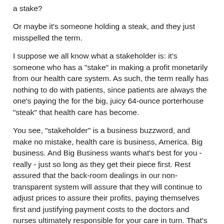a stake?
Or maybe it's someone holding a steak, and they just misspelled the term.
I suppose we all know what a stakeholder is: it's someone who has a "stake" in making a profit monetarily from our health care system. As such, the term really has nothing to do with patients, since patients are always the one's paying the for the big, juicy 64-ounce porterhouse "steak" that health care has become.
You see, "stakeholder" is a business buzzword, and make no mistake, health care is business, America. Big business. And Big Business wants what's best for you - really - just so long as they get their piece first. Rest assured that the back-room dealings in our non-transparent system will assure that they will continue to adjust prices to assure their profits, paying themselves first and justifying payment costs to the doctors and nurses ultimately responsible for your care in turn. That's the way business works - they MUST respond to their shareholders - those with a financial stake in their business -